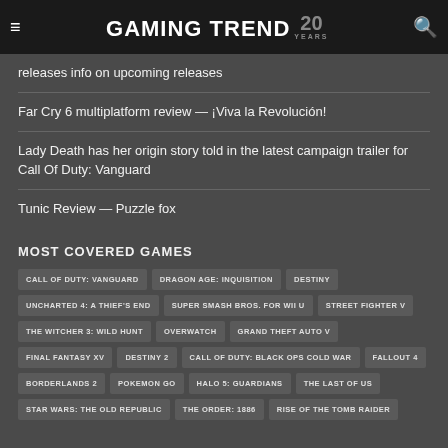GAMING TREND 20 YEARS
releases info on upcoming releases
Far Cry 6 multiplatform review — ¡Viva la Revolución!
Lady Death has her origin story told in the latest campaign trailer for Call Of Duty: Vanguard
Tunic Review — Puzzle fox
MOST COVERED GAMES
CALL OF DUTY: VANGUARD
DRAGON AGE: INQUISITION
DESTINY
UNCHARTED 4: A THIEF'S END
SUPER SMASH BROS. FOR WII U
STREET FIGHTER V
THE WITCHER 3: WILD HUNT
OVERWATCH
GRAND THEFT AUTO V
FINAL FANTASY XV
DESTINY 2
CALL OF DUTY: BLACK OPS COLD WAR
FALLOUT 4
BORDERLANDS 2
POKEMON GO
HALO 5: GUARDIANS
THE LAST OF US
STAR WARS: THE OLD REPUBLIC
THE ORDER: 1886
RISE OF THE TOMB RAIDER